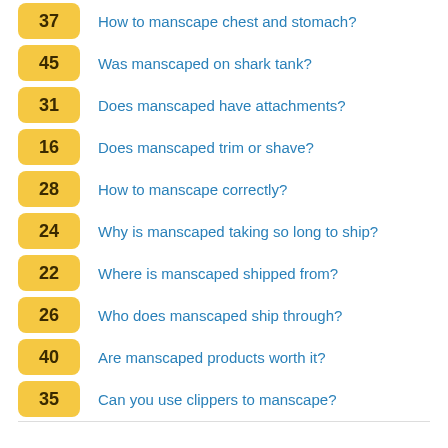37 How to manscape chest and stomach?
45 Was manscaped on shark tank?
31 Does manscaped have attachments?
16 Does manscaped trim or shave?
28 How to manscape correctly?
24 Why is manscaped taking so long to ship?
22 Where is manscaped shipped from?
26 Who does manscaped ship through?
40 Are manscaped products worth it?
35 Can you use clippers to manscape?